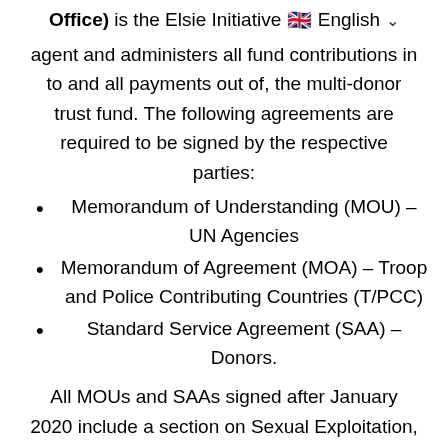Office) is the Elsie Initiative 🇬🇧 English ∨
agent and administers all fund contributions in to and all payments out of, the multi-donor trust fund. The following agreements are required to be signed by the respective parties:
Memorandum of Understanding (MOU) – UN Agencies
Memorandum of Agreement (MOA) – Troop and Police Contributing Countries (T/PCC)
Standard Service Agreement (SAA) – Donors.
All MOUs and SAAs signed after January 2020 include a section on Sexual Exploitation, Sexual Abuse, and Sexual Harassment.